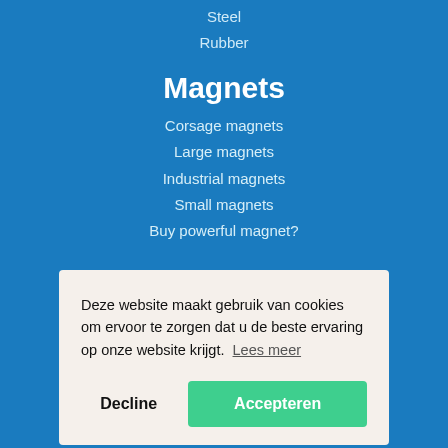Steel
Rubber
Magnets
Corsage magnets
Large magnets
Industrial magnets
Small magnets
Buy powerful magnet?
Deze website maakt gebruik van cookies om ervoor te zorgen dat u de beste ervaring op onze website krijgt.  Lees meer
Decline
Accepteren
Cescuping magnets
Decodering magnets